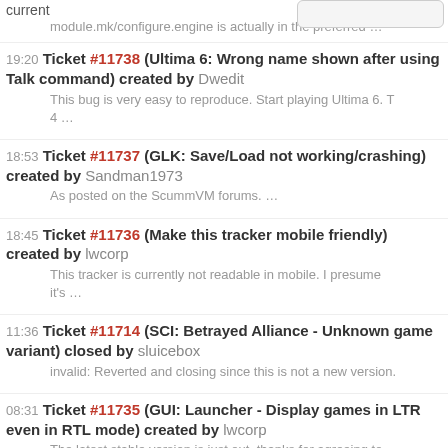current
module.mk/configure.engine is actually in the preferred …
19:20 Ticket #11738 (Ultima 6: Wrong name shown after using Talk command) created by Dwedit — This bug is very easy to reproduce. Start playing Ultima 6. T 4 …
18:53 Ticket #11737 (GLK: Save/Load not working/crashing) created by Sandman1973 — As posted on the ScummVM forums. …
18:45 Ticket #11736 (Make this tracker mobile friendly) created by lwcorp — This tracker is currently not readable in mobile. I presume it's …
11:36 Ticket #11714 (SCI: Betrayed Alliance - Unknown game variant) closed by sluicebox — invalid: Reverted and closing since this is not a new version.
08:31 Ticket #11735 (GUI: Launcher - Display games in LTR even in RTL mode) created by lwcorp — The latest stable version is just out, thanks for agreeing to